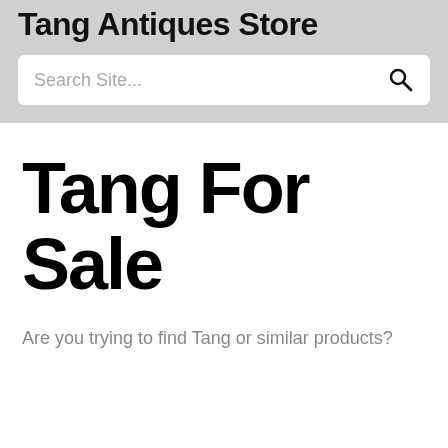Tang Antiques Store
[Figure (screenshot): Search box with placeholder text 'Search Site...' and a search icon on the right]
Tang For Sale
Are you trying to find Tang or similar products?